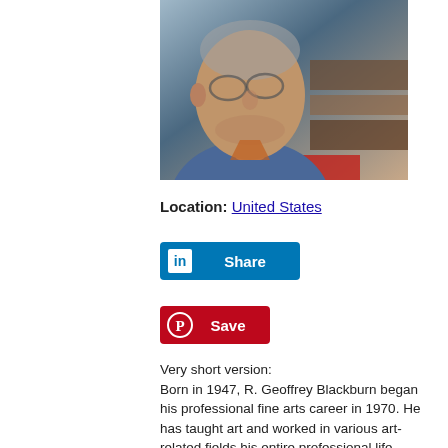[Figure (photo): Close-up photo of an elderly man with glasses, wearing a blue shirt, looking slightly downward. Photo has warm tones with a blurred background.]
Location: United States
[Figure (other): LinkedIn Share button — blue rectangle with 'in' logo and 'Share' text in white]
[Figure (other): Pinterest Save button — red rectangle with Pinterest 'P' circle icon and 'Save' text in white]
Very short version:
Born in 1947, R. Geoffrey Blackburn began his professional fine arts career in 1970. He has taught art and worked in various art-related fields his entire professional life. While in England, in the early 1970's, he was the principle artist for an international magazine.